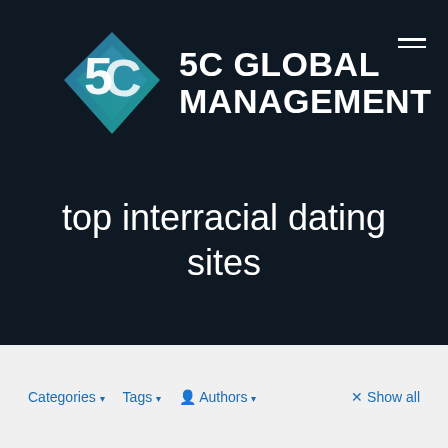[Figure (logo): 5C Global Management logo: diamond/rhombus shape with teal-to-blue gradient containing overlapping '5' and 'C' letters in white, next to bold white text '5C GLOBAL MANAGEMENT']
top interracial dating sites
Categories ▾   Tags ▾   👤 Authors ▾   × Show all